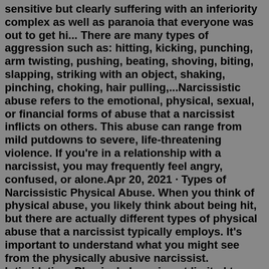sensitive but clearly suffering with an inferiority complex as well as paranoia that everyone was out to get hi... There are many types of aggression such as: hitting, kicking, punching, arm twisting, pushing, beating, shoving, biting, slapping, striking with an object, shaking, pinching, choking, hair pulling,...Narcissistic abuse refers to the emotional, physical, sexual, or financial forms of abuse that a narcissist inflicts on others. This abuse can range from mild putdowns to severe, life-threatening violence. If you're in a relationship with a narcissist, you may frequently feel angry, confused, or alone.Apr 20, 2021 · Types of Narcissistic Physical Abuse. When you think of physical abuse, you likely think about being hit, but there are actually different types of physical abuse that a narcissist typically employs. It's important to understand what you might see from the physically abusive narcissist. Intimidation; Physical abuse is not limited to those ... Oct 20, 2021 · self-centeredness. verbal aggression. a lack of insight on how their behaviors affect others. They tend to treat